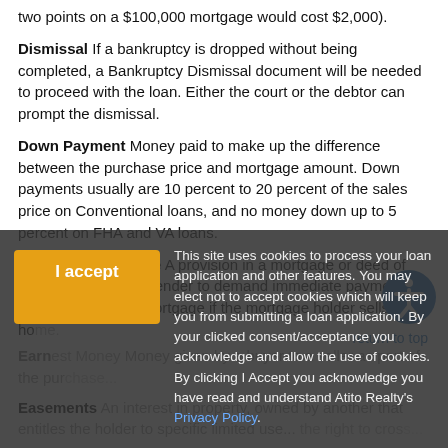two points on a $100,000 mortgage would cost $2,000).
Dismissal If a bankruptcy is dropped without being completed, a Bankruptcy Dismissal document will be needed to proceed with the loan. Either the court or the debtor can prompt the dismissal.
Down Payment Money paid to make up the difference between the purchase price and mortgage amount. Down payments usually are 10 percent to 20 percent of the sales price on Conventional loans, and no money down up to 5 percent on FHA and VA loans.
Due-On-Sale Clause A provision in a mortgage or deed of trust that allows the lender to demand immediate payment of the balance of the mortgage if the mortgage holder sells the home.
return to top
Earnest Money Money given by a buyer to a seller as part of the purchase...
Easements An interest in property owned by another that entitles the holder to specific limited use...the right to cross...
Encroachment A fixture of a piece of property which intrudes on another's property.
This site uses cookies to process your loan application and other features. You may elect not to accept cookies which will keep you from submitting a loan application. By your clicked consent/acceptance you acknowledge and allow the use of cookies. By clicking I Accept you acknowledge you have read and understand Atito Realty's Privacy Policy.